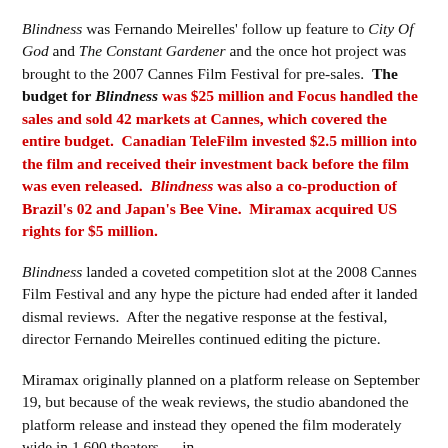Blindness was Fernando Meirelles' follow up feature to City Of God and The Constant Gardener and the once hot project was brought to the 2007 Cannes Film Festival for pre-sales. The budget for Blindness was $25 million and Focus handled the sales and sold 42 markets at Cannes, which covered the entire budget. Canadian TeleFilm invested $2.5 million into the film and received their investment back before the film was even released. Blindness was also a co-production of Brazil's 02 and Japan's Bee Vine. Miramax acquired US rights for $5 million.
Blindness landed a coveted competition slot at the 2008 Cannes Film Festival and any hype the picture had ended after it landed dismal reviews. After the negative response at the festival, director Fernando Meirelles continued editing the picture.
Miramax originally planned on a platform release on September 19, but because of the weak reviews, the studio abandoned the platform release and instead they opened the film moderately wide in 1,600 theaters — in